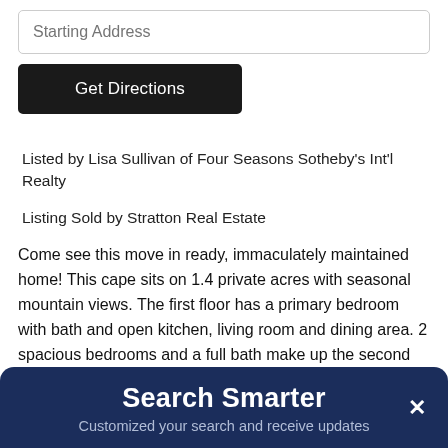Starting Address
Get Directions
Listed by Lisa Sullivan of Four Seasons Sotheby's Int'l Realty
Listing Sold by Stratton Real Estate
Come see this move in ready, immaculately maintained home! This cape sits on 1.4 private acres with seasonal mountain views. The first floor has a primary bedroom with bath and open kitchen, living room and dining area. 2 spacious bedrooms and a full bath make up the second floor. The finished portion of the basement has 2 separate spaces that could be used in many ways, storage, workout...
Search Smarter
Customized your search and receive updates